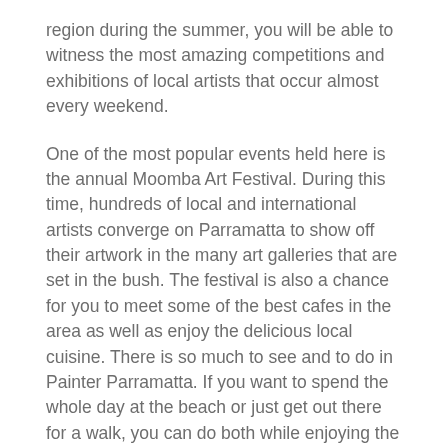region during the summer, you will be able to witness the most amazing competitions and exhibitions of local artists that occur almost every weekend.
One of the most popular events held here is the annual Moomba Art Festival. During this time, hundreds of local and international artists converge on Parramatta to show off their artwork in the many art galleries that are set in the bush. The festival is also a chance for you to meet some of the best cafes in the area as well as enjoy the delicious local cuisine. There is so much to see and to do in Painter Parramatta. If you want to spend the whole day at the beach or just get out there for a walk, you can do both while enjoying the unique Australian culture that is featured in the area.